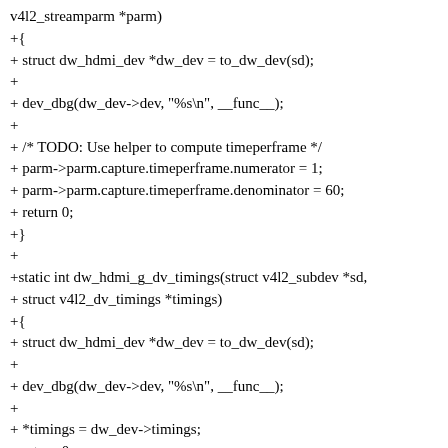v4l2_streamparm *parm)
+{
+ struct dw_hdmi_dev *dw_dev = to_dw_dev(sd);
+
+ dev_dbg(dw_dev->dev, "%s\n", __func__);
+
+ /* TODO: Use helper to compute timeperframe */
+ parm->parm.capture.timeperframe.numerator = 1;
+ parm->parm.capture.timeperframe.denominator = 60;
+ return 0;
+}
+
+static int dw_hdmi_g_dv_timings(struct v4l2_subdev *sd,
+ struct v4l2_dv_timings *timings)
+{
+ struct dw_hdmi_dev *dw_dev = to_dw_dev(sd);
+
+ dev_dbg(dw_dev->dev, "%s\n", __func__);
+
+ *timings = dw_dev->timings;
+ return 0;
+}
+
+static int dw_hdmi_query_dv_timings(struct v4l2_subdev *sd,
+ struct v4l2_dv_timings *timings)
+{